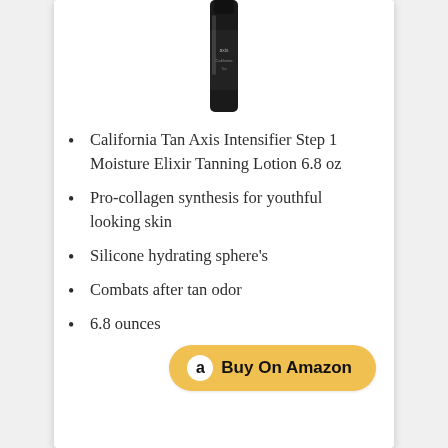[Figure (photo): Partial view of a California Tan Axis product bottle (dark/black cylindrical container) cropped at the top of the card.]
California Tan Axis Intensifier Step 1 Moisture Elixir Tanning Lotion 6.8 oz
Pro-collagen synthesis for youthful looking skin
Silicone hydrating sphere's
Combats after tan odor
6.8 ounces
Buy On Amazon